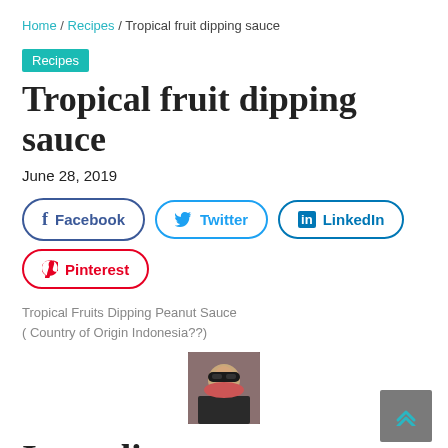Home / Recipes / Tropical fruit dipping sauce
Recipes
Tropical fruit dipping sauce
June 28, 2019
Facebook   Twitter   LinkedIn
Pinterest
Tropical Fruits Dipping Peanut Sauce
( Country of Origin Indonesia??)
[Figure (photo): Small circular photo of a woman wearing sunglasses]
Ingredients